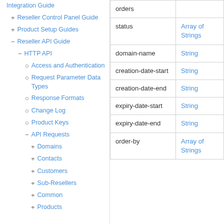Integration Guide
+ Reseller Control Panel Guide
+ Product Setup Guides
− Reseller API Guide
− HTTP API
○ Access and Authentication
○ Request Parameter Data Types
○ Response Formats
○ Change Log
○ Product Keys
− API Requests
+ Domains
+ Contacts
+ Customers
+ Sub-Resellers
+ Common
+ Products
| Parameter | Type |
| --- | --- |
| orders |  |
| status | Array of Strings |
| domain-name | String |
| creation-date-start | String |
| creation-date-end | String |
| expiry-date-start | String |
| expiry-date-end | String |
| order-by | Array of Strings |